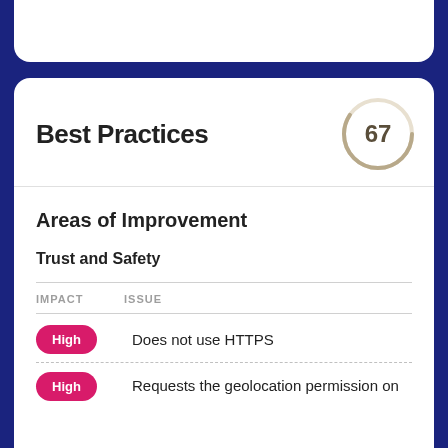Best Practices
[Figure (other): Score circle showing 67]
Areas of Improvement
Trust and Safety
| IMPACT | ISSUE |
| --- | --- |
| High | Does not use HTTPS |
| High | Requests the geolocation permission on |